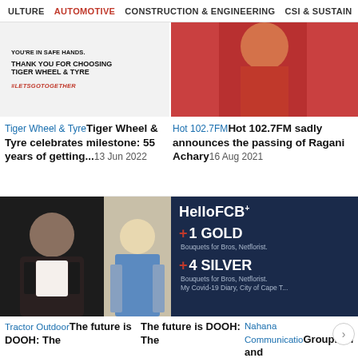ULTURE   AUTOMOTIVE   CONSTRUCTION & ENGINEERING   CSI & SUSTAIN
[Figure (photo): Tiger Wheel & Tyre promotional image with text: YOU'RE IN SAFE HANDS, THANK YOU FOR CHOOSING TIGER WHEEL & TYRE, #LETSGOTOGETHER]
[Figure (photo): Woman in red dress smiling, portrait photo]
Tiger Wheel & TyreTiger Wheel & Tyre celebrates milestone: 55 years of getting...13 Jun 2022
Hot 102.7FMHot 102.7FM sadly announces the passing of Ragani Achary16 Aug 2021
[Figure (photo): Man in dark suit with arms crossed, dark background]
[Figure (photo): Woman with blonde hair wearing denim jacket]
[Figure (infographic): HelloFCB+ awards: +1 GOLD Bouquets for Bros, Netflorist. +4 SILVER Bouquets for Bros, Netflorist. My Covid-19 Diary, City of Cape T...]
Tractor OutdoorThe future is DOOH: The
The future is DOOH: The
Nahana Communications GroupHelloFCB+ and